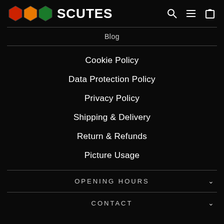SCUTES — logo with navigation icons (search, menu, cart)
Blog
Cookie Policy
Data Protection Policy
Privacy Policy
Shipping & Delivery
Return & Refunds
Picture Usage
OPENING HOURS
CONTACT